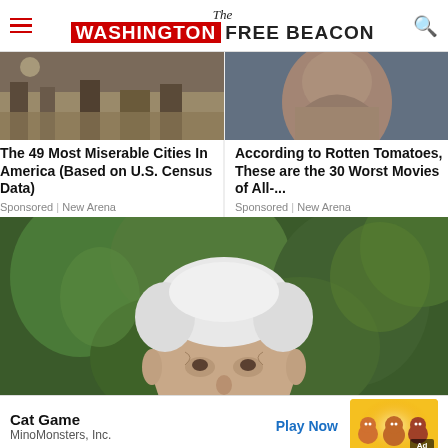The Washington Free Beacon
[Figure (photo): Crime scene or outdoor photo for miserable cities ad]
The 49 Most Miserable Cities In America (Based on U.S. Census Data)
Sponsored | New Arena
[Figure (photo): Woman with long hair for worst movies ad]
According to Rotten Tomatoes, These are the 30 Worst Movies of All-...
Sponsored | New Arena
[Figure (photo): Elderly man with white hair in front of green foliage]
Cat Game
MinoMonsters, Inc.
Play Now
[Figure (photo): Cat Game ad image with cartoon cats on yellow background with Ad label]